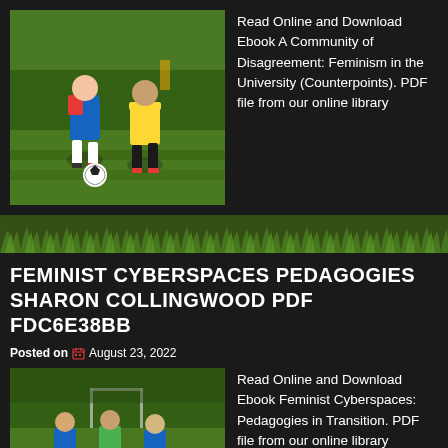[Figure (photo): Two young boys playing soccer on a green field, one in blue Adidas kit and one in yellow Adidas kit chasing a football]
Read Online and Download Ebook A Community of Disagreement: Feminism in the University (Counterpoints). PDF file from our online library
FEMINIST CYBERSPACES PEDAGOGIES SHARON COLLINGWOOD PDF FDC6E38BB
Posted on August 23, 2022
[Figure (photo): Young boys in blue and green bibs playing soccer on a field]
Read Online and Download Ebook Feminist Cyberspaces: Pedagogies in Transition. PDF file from our online library